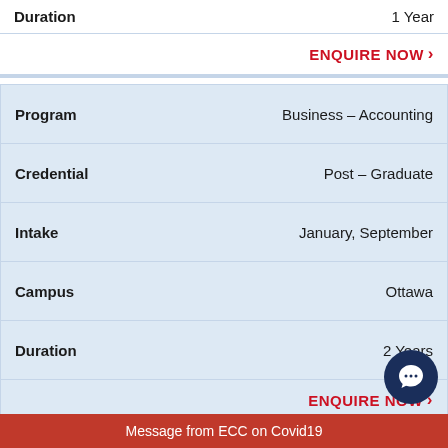| Field | Value |
| --- | --- |
| Duration | 1 Year |
| ENQUIRE NOW › |  |
| Field | Value |
| --- | --- |
| Program | Business – Accounting |
| Credential | Post – Graduate |
| Intake | January, September |
| Campus | Ottawa |
| Duration | 2 Years |
| ENQUIRE NOW › |  |
| Field | Value |
| --- | --- |
| Program | Business – Management and Entrepreneurship |
| Credential | Diploma |
Message from ECC on Covid19